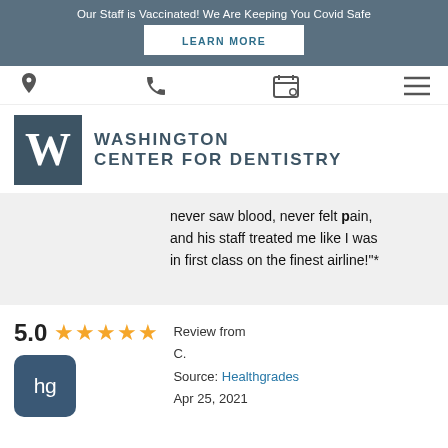Our Staff is Vaccinated! We Are Keeping You Covid Safe
LEARN MORE
[Figure (other): Navigation bar with location pin, phone, calendar, and hamburger menu icons]
[Figure (logo): Washington Center for Dentistry logo: dark square with white W, beside text WASHINGTON CENTER FOR DENTISTRY]
never saw blood, never felt pain, and his staff treated me like I was in first class on the finest airline!"*
5.0
[Figure (other): Five gold star rating icons]
Review from
C.
Source: Healthgrades
Apr 25, 2021
[Figure (logo): Healthgrades logo: dark blue rounded square with lowercase hg in white]